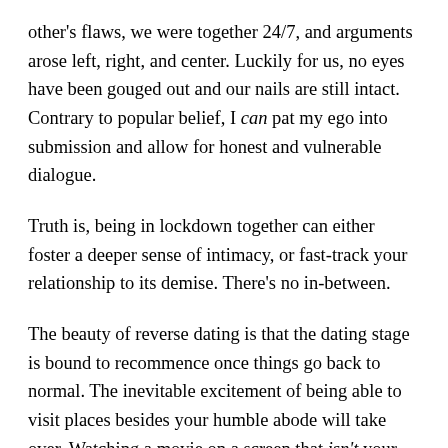other's flaws, we were together 24/7, and arguments arose left, right, and center. Luckily for us, no eyes have been gouged out and our nails are still intact. Contrary to popular belief, I can pat my ego into submission and allow for honest and vulnerable dialogue.
Truth is, being in lockdown together can either foster a deeper sense of intimacy, or fast-track your relationship to its demise. There's no in-between.
The beauty of reverse dating is that the dating stage is bound to recommence once things go back to normal. The inevitable excitement of being able to visit places besides your humble abode will take over. Watching a movie on a screen that isn't your laptop? Thrilling! Eating out next to other people? Raunchy! Visiting a museum with your